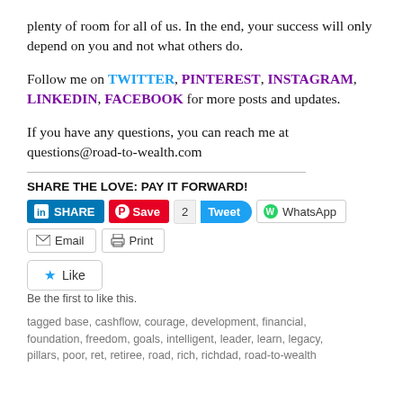plenty of room for all of us. In the end, your success will only depend on you and not what others do.
Follow me on TWITTER, PINTEREST, INSTAGRAM, LINKEDIN, FACEBOOK for more posts and updates.
If you have any questions, you can reach me at questions@road-to-wealth.com
SHARE THE LOVE: PAY IT FORWARD!
[Figure (screenshot): Social share buttons: LinkedIn SHARE, Pinterest Save, Tweet with count 2, WhatsApp, Email, Print]
[Figure (screenshot): Like button widget with star icon and text 'Be the first to like this.']
tagged base, cashflow, courage, development, financial, foundation, freedom, goals, intelligent, leader, learn, legacy, pillars, poor, ret, retiree, road, rich, richdad, road-to-wealth